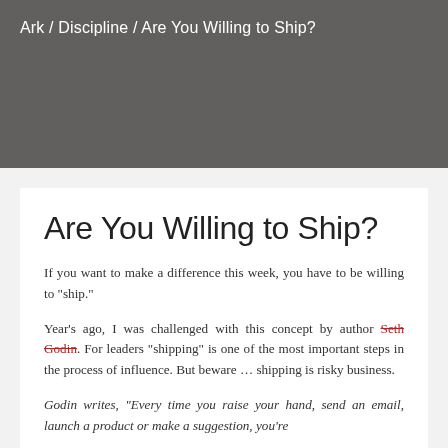Ark / Discipline / Are You Willing to Ship?
Are You Willing to Ship?
If you want to make a difference this week, you have to be willing to "ship."
Year's ago, I was challenged with this concept by author Seth Godin. For leaders "shipping" is one of the most important steps in the process of influence. But beware … shipping is risky business.
Godin writes, "Every time you raise your hand, send an email, launch a product or make a suggestion, you're